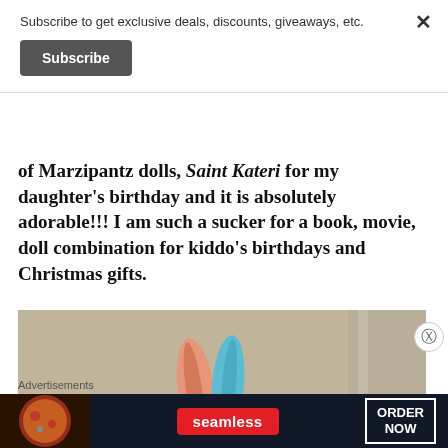Subscribe to get exclusive deals, discounts, giveaways, etc.
Subscribe
of Marzipantz dolls, Saint Kateri for my daughter's birthday and it is absolutely adorable!!! I am such a sucker for a book, movie, doll combination for kiddo's birthdays and Christmas gifts.
[Figure (photo): A doll with colorful feathers (pink and blue/teal) on its head, set against a beige wall background. The doll appears to be a Saint Kateri Marzipantz doll.]
Advertisements
[Figure (screenshot): Seamless advertisement banner showing pizza on the left, Seamless logo in the center, and ORDER NOW button on the right, on a dark background.]